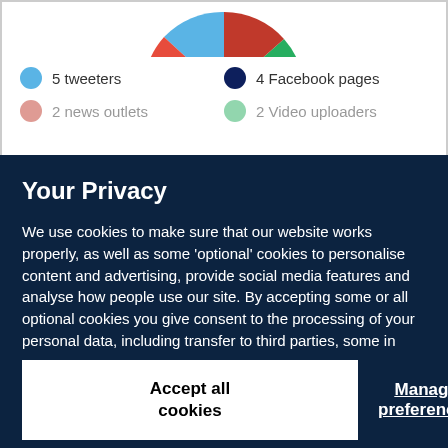[Figure (pie-chart): Partial view of a pie/donut chart at the top of the page, partially obscured by a privacy modal overlay.]
5 tweeters
4 Facebook pages
2 news outlets
2 Video uploaders
Your Privacy
We use cookies to make sure that our website works properly, as well as some 'optional' cookies to personalise content and advertising, provide social media features and analyse how people use our site. By accepting some or all optional cookies you give consent to the processing of your personal data, including transfer to third parties, some in countries outside of the European Economic Area that do not offer the same data protection standards as the country where you live. You can decide which optional cookies to accept by clicking on 'Manage Settings', where you can also find more information about how your personal data is processed. Further information can be found in our privacy policy.
Accept all cookies
Manage preferences